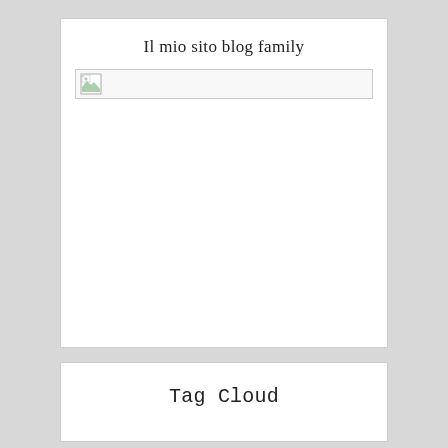Il mio sito blog family
[Figure (other): Broken image placeholder — a small image icon with a torn/missing image indicator inside a rectangular bordered box]
Tag Cloud